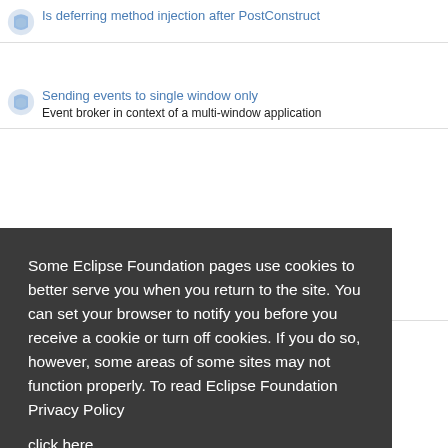Is deferring method injection after PostConstruct
Sending events to single window only
Event broker in context of a multi-window application
Some Eclipse Foundation pages use cookies to better serve you when you return to the site. You can set your browser to notify you before you receive a cookie or turn off cookies. If you do so, however, some areas of some sites may not function properly. To read Eclipse Foundation Privacy Policy click here.
Decline
Allow cookies
OSGi Fragment for logging not working
Log4j logging fragment configuration not working